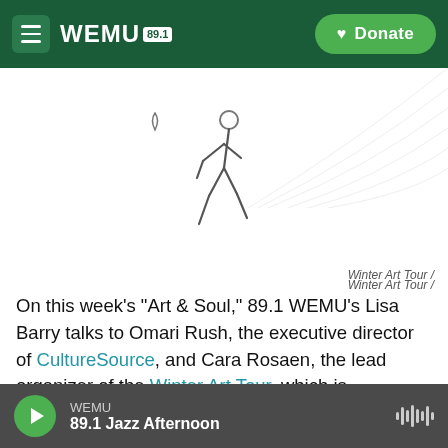WEMU 89.1 — Donate
[Figure (illustration): Walking figure icon (Winter Art Tour logo) on white background with faint arc lines in upper right]
Winter Art Tour /
On this week's "Art & Soul," 89.1 WEMU's Lisa Barry talks to Omari Rush, the executive director of CultureSource, and Cara Rosaen, the lead organizer of the Winter Art Tour, which is happening the weekend of December 8-10 in Ann Arbor and Ypsilanti.
Rosaen talks about how the Art Tour came to be
WEMU — 89.1 Jazz Afternoon